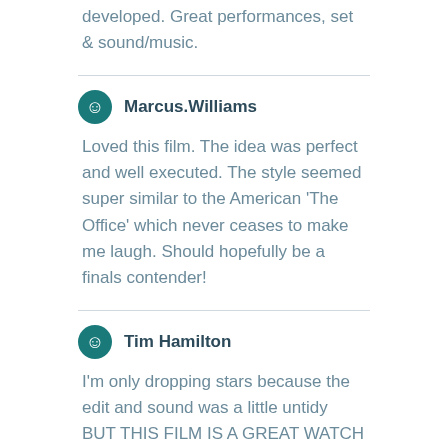developed. Great performances, set & sound/music.
Marcus.Williams
Loved this film. The idea was perfect and well executed. The style seemed super similar to the American 'The Office' which never ceases to make me laugh. Should hopefully be a finals contender!
Tim Hamilton
I'm only dropping stars because the edit and sound was a little untidy BUT THIS FILM IS A GREAT WATCH The cinematography was surprisingly clever. And I really appreciate the mocumentary style and boner jokes